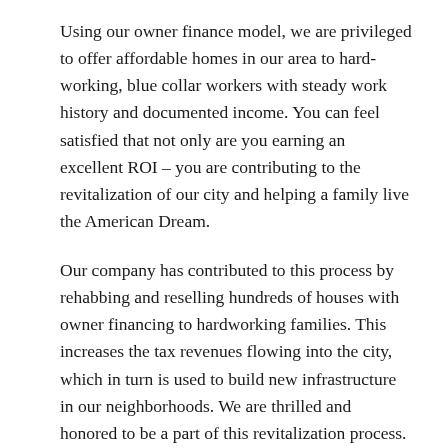Using our owner finance model, we are privileged to offer affordable homes in our area to hard-working, blue collar workers with steady work history and documented income. You can feel satisfied that not only are you earning an excellent ROI – you are contributing to the revitalization of our city and helping a family live the American Dream.
Our company has contributed to this process by rehabbing and reselling hundreds of houses with owner financing to hardworking families. This increases the tax revenues flowing into the city, which in turn is used to build new infrastructure in our neighborhoods. We are thrilled and honored to be a part of this revitalization process.
IV. Our Process